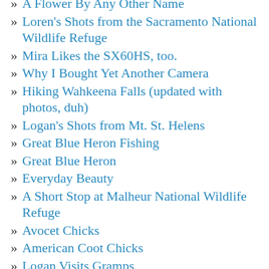A Flower By Any Other Name
Loren's Shots from the Sacramento National Wildlife Refuge
Mira Likes the SX60HS, too.
Why I Bought Yet Another Camera
Hiking Wahkeena Falls (updated with photos, duh)
Logan's Shots from Mt. St. Helens
Great Blue Heron Fishing
Great Blue Heron
Everyday Beauty
A Short Stop at Malheur National Wildlife Refuge
Avocet Chicks
American Coot Chicks
Logan Visits Gramps
Great Blue Herons